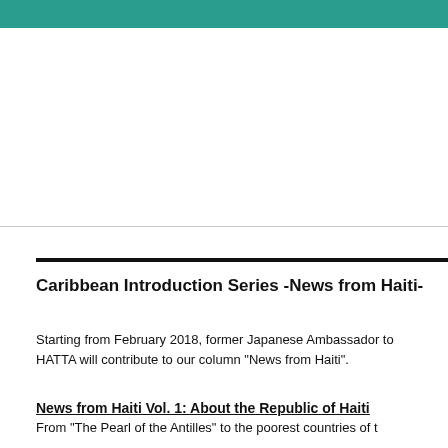[Figure (other): Teal/green decorative header bar at the top of the page]
Caribbean Introduction Series -News from Haiti-
Starting from February 2018, former Japanese Ambassador to HATTA will contribute to our column "News from Haiti".
News from Haiti Vol. 1: About the Republic of Haiti
From “The Pearl of the Antilles” to the poorest countries of t